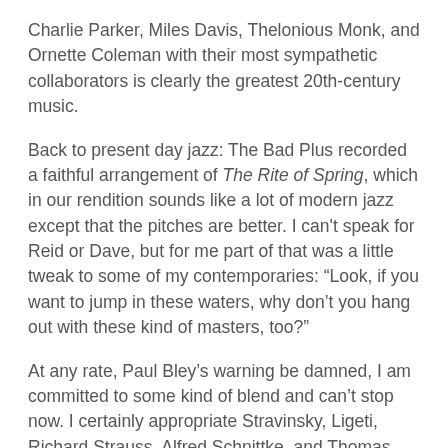Charlie Parker, Miles Davis, Thelonious Monk, and Ornette Coleman with their most sympathetic collaborators is clearly the greatest 20th-century music.
Back to present day jazz: The Bad Plus recorded a faithful arrangement of The Rite of Spring, which in our rendition sounds like a lot of modern jazz except that the pitches are better. I can't speak for Reid or Dave, but for me part of that was a little tweak to some of my contemporaries: “Look, if you want to jump in these waters, why don’t you hang out with these kind of masters, too?”
At any rate, Paul Bley’s warning be damned, I am committed to some kind of blend and can’t stop now. I certainly appropriate Stravinsky, Ligeti, Richard Strauss, Alfred Schnittke, and Thomas Adès in my improvisations.
As an American musician, I’ve developed a strong taste for the pillars of American classical music: Aaron Copland